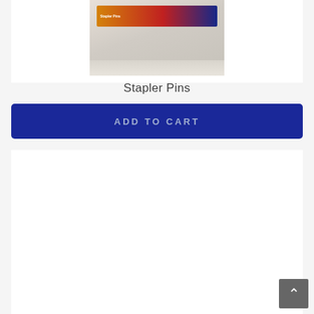[Figure (photo): Product image of Stapler Pins in packaging, shown against a light beige/tan background]
Stapler Pins
ADD TO CART
[Figure (other): White card/section area below the add to cart button, appearing blank]